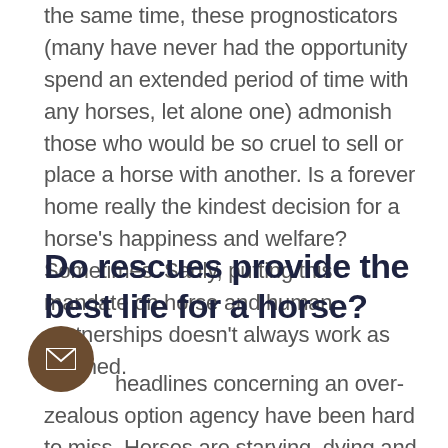the same time, these prognosticators (many have never had the opportunity spend an extended period of time with any horses, let alone one) admonish those who would be so cruel to sell or place a horse with another. Is a forever home really the kindest decision for a horse's happiness and welfare? Sometimes. Sadly, putting this mandate on horse and human partnerships doesn't always work as planned.
Do rescues provide the best life for a horse?
headlines concerning an over-zealous option agency have been hard to miss. Horses are starving, dying and left to languish